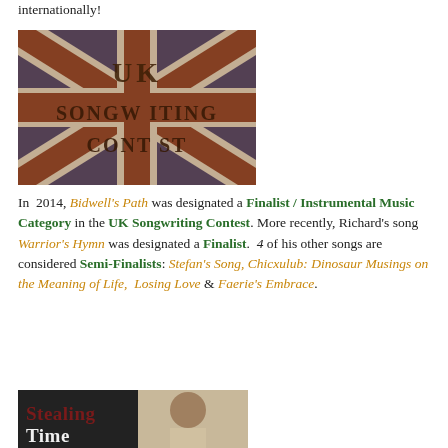internationally!
[Figure (photo): UK Songwriting Contest logo image with Union Jack flag design and text 'UK SONGWRITING CONTEST' overlaid]
In 2014, Bidwell's Path was designated a Finalist / Instrumental Music Category in the UK Songwriting Contest. More recently, Richard's song Warrior's Hymn was designated a Finalist. 4 of his other songs are considered Semi-Finalists: Stefan's Song, Chicxulub: Dinosaur Musings on the Meaning of Life, Losing Love & Faerie's Embrace.
[Figure (photo): Book or album cover showing 'Stealing Time' text with a woman's face visible]